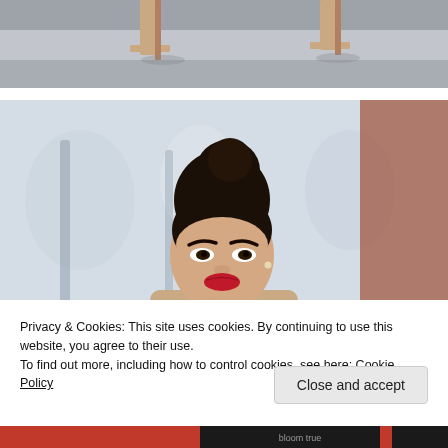[Figure (photo): Top cropped photo showing high heel shoes on a gray pavement background]
[Figure (photo): Portrait photo of a young Asian woman with dark hair in a top bun, red lipstick, wearing a beige coat, posing outdoors with blurred trees and brick wall background]
Privacy & Cookies: This site uses cookies. By continuing to use this website, you agree to their use.
To find out more, including how to control cookies, see here: Cookie Policy
Close and accept